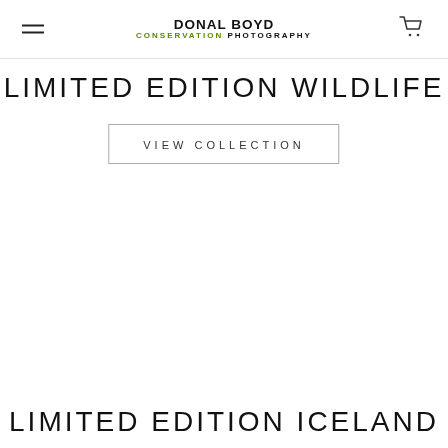DONAL BOYD CONSERVATION PHOTOGRAPHY
LIMITED EDITION WILDLIFE
VIEW COLLECTION
LIMITED EDITION ICELAND